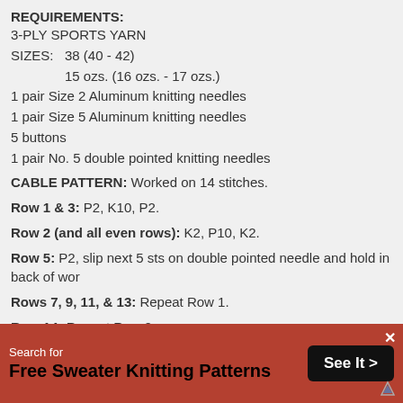REQUIREMENTS:
3-PLY SPORTS YARN
SIZES:   38 (40 - 42)
15 ozs. (16 ozs. - 17 ozs.)
1 pair Size 2 Aluminum knitting needles
1 pair Size 5 Aluminum knitting needles
5 buttons
1 pair No. 5 double pointed knitting needles
CABLE PATTERN: Worked on 14 stitches.
Row 1 & 3: P2, K10, P2.
Row 2 (and all even rows): K2, P10, K2.
Row 5: P2, slip next 5 sts on double pointed needle and hold in back of work
Rows 7, 9, 11, & 13: Repeat Row 1.
Row 14: Repeat Row 2.
Repeat these 14 rows for cable pattern.
BACK: With No. 5 needles, cast on 130 (138-146) sts. Work in stockinette